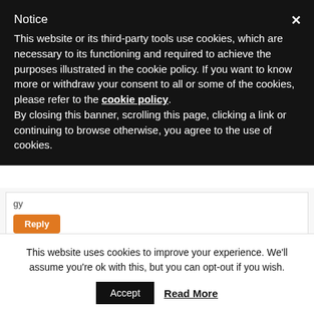Notice
This website or its third-party tools use cookies, which are necessary to its functioning and required to achieve the purposes illustrated in the cookie policy. If you want to know more or withdraw your consent to all or some of the cookies, please refer to the cookie policy.
By closing this banner, scrolling this page, clicking a link or continuing to browse otherwise, you agree to the use of cookies.
Reply
Noel
September 6, 2017 at 5:34 PM
This website uses cookies to improve your experience. We'll assume you're ok with this, but you can opt-out if you wish.
Accept   Read More